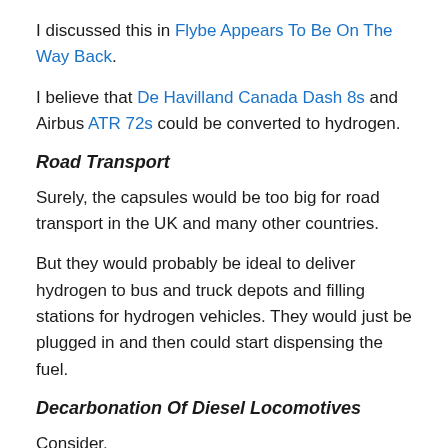I discussed this in Flybe Appears To Be On The Way Back.
I believe that De Havilland Canada Dash 8s and Airbus ATR 72s could be converted to hydrogen.
Road Transport
Surely, the capsules would be too big for road transport in the UK and many other countries.
But they would probably be ideal to deliver hydrogen to bus and truck depots and filling stations for hydrogen vehicles. They would just be plugged in and then could start dispensing the fuel.
Decarbonation Of Diesel Locomotives
Consider.